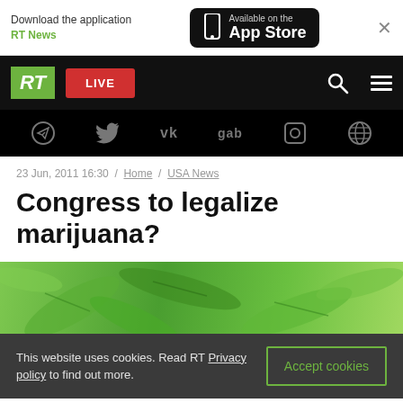Download the application RT News / Available on the App Store
[Figure (screenshot): RT News navigation bar with logo, LIVE button, search and menu icons]
[Figure (screenshot): Social media icons bar: Telegram, Twitter, VK, gab, Odysee, unknown globe icon]
23 Jun, 2011 16:30 / Home / USA News
Congress to legalize marijuana?
[Figure (photo): Close-up photo of green marijuana/cannabis plant leaves]
This website uses cookies. Read RT Privacy policy to find out more.
Accept cookies